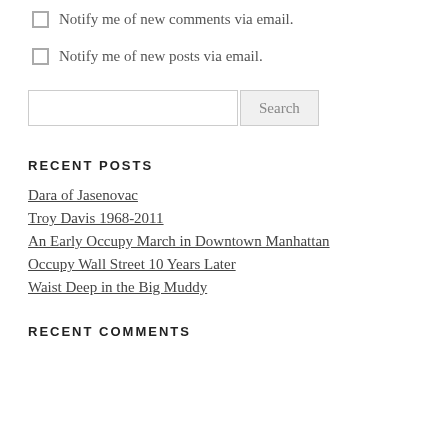Notify me of new comments via email.
Notify me of new posts via email.
Search
RECENT POSTS
Dara of Jasenovac
Troy Davis 1968-2011
An Early Occupy March in Downtown Manhattan
Occupy Wall Street 10 Years Later
Waist Deep in the Big Muddy
RECENT COMMENTS